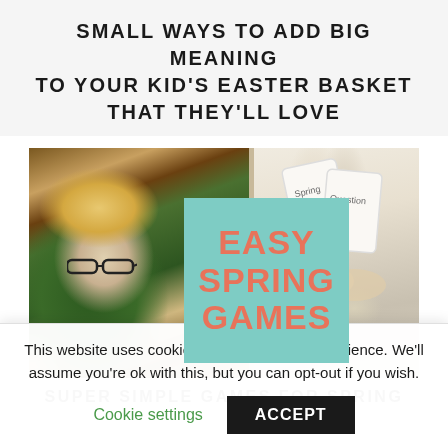SMALL WAYS TO ADD BIG MEANING TO YOUR KID'S EASTER BASKET THAT THEY'LL LOVE
[Figure (photo): Composite image: left shows a young blonde boy wearing glasses writing at a table; center shows a teal square with bold coral/salmon text reading EASY SPRING GAMES; right shows hands holding or dealing cards with spring/rainbow illustrations]
SUPER SIMPLE GAMES FOR SPRING
This website uses cookies to improve your experience. We'll assume you're ok with this, but you can opt-out if you wish.
Cookie settings   ACCEPT